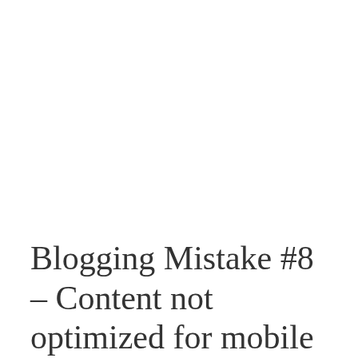Blogging Mistake #8 – Content not optimized for mobile